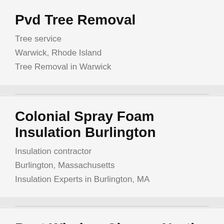Pvd Tree Removal
Tree service
Warwick, Rhode Island
Tree Removal in Warwick
Colonial Spray Foam Insulation Burlington
Insulation contractor
Burlington, Massachusetts
Insulation Experts in Burlington, MA
Best Window Cleaner North Bay